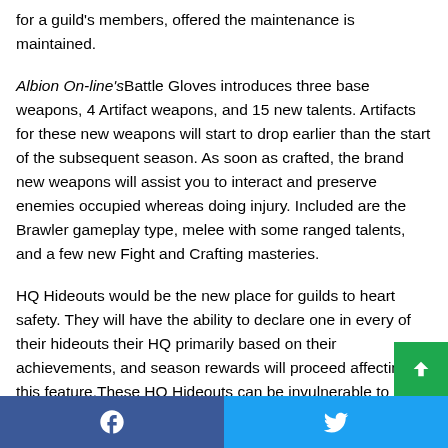for a guild's members, offered the maintenance is maintained.
Albion On-line'sBattle Gloves introduces three base weapons, 4 Artifact weapons, and 15 new talents. Artifacts for these new weapons will start to drop earlier than the start of the subsequent season. As soon as crafted, the brand new weapons will assist you to interact and preserve enemies occupied whereas doing injury. Included are the Brawler gameplay type, melee with some ranged talents, and a few new Fight and Crafting masteries.
HQ Hideouts would be the new place for guilds to heart safety. They will have the ability to declare one in every of their hideouts their HQ primarily based on their achievements, and season rewards will proceed affecting this feature.These HQ Hideouts can be invulnerable to assaults whereas they're
Facebook  Twitter